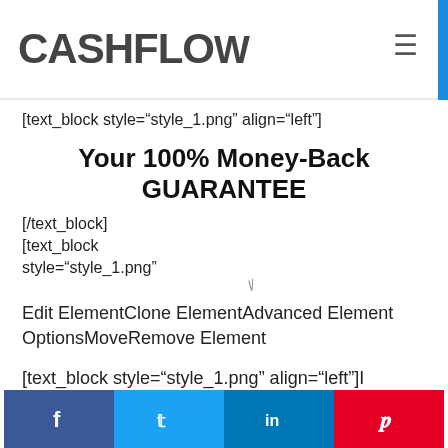CASHFLOW
[text_block style="style_1.png" align="left"]
Your 100% Money-Back GUARANTEE
[/text_block]
[text_block
style="style_1.png"
Edit ElementClone ElementAdvanced Element
OptionsMoveRemove Element
[text_block style="style_1.png" align="left"]I guarantee you'll love this book and the training, or I'll return your $2.97 and you ca... training.